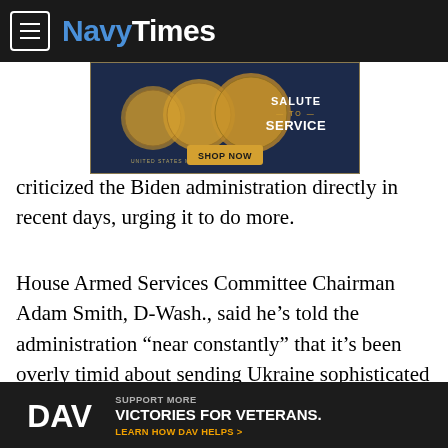NavyTimes
[Figure (infographic): US Mint advertisement banner showing gold coins with text 'SALUTE TO SERVICE' and 'SHOP NOW' button]
criticized the Biden administration directly in recent days, urging it to do more.
House Armed Services Committee Chairman Adam Smith, D-Wash., said he’s told the administration “near constantly” that it’s been overly timid about sending Ukraine sophisticated systems like long-range artillery and the Grey Eagle, a reusable flying drone with a 300-mile range that is used by the U.S. Army
[Figure (infographic): DAV advertisement banner with text 'SUPPORT MORE VICTORIES FOR VETERANS. LEARN HOW DAV HELPS >']